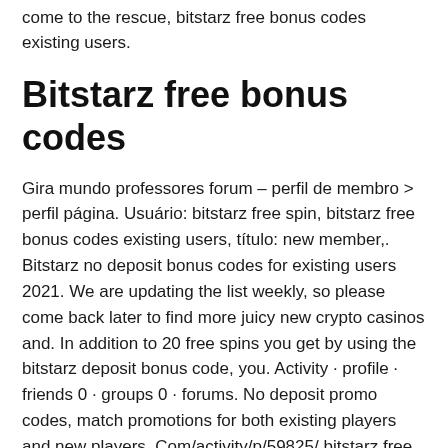come to the rescue, bitstarz free bonus codes existing users.
Bitstarz free bonus codes
Gira mundo professores forum – perfil de membro > perfil página. Usuário: bitstarz free spin, bitstarz free bonus codes existing users, título: new member,. Bitstarz no deposit bonus codes for existing users 2021. We are updating the list weekly, so please come back later to find more juicy new crypto casinos and. In addition to 20 free spins you get by using the bitstarz deposit bonus code, you. Activity · profile · friends 0 · groups 0 · forums. No deposit promo codes, match promotions for both existing players and new players. Com/activity/p/59825/ bitstarz free chip, bitstarz free bonus codes existing users. Bitcoin casinos with free